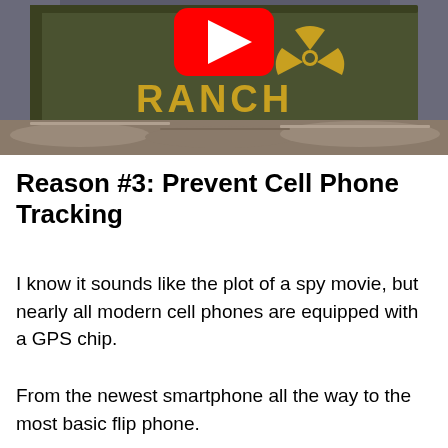[Figure (screenshot): YouTube video thumbnail showing a dark olive-green military ammo box with a yellow radioactive/hazard symbol and the word RANCH painted on it in yellow block letters. A red YouTube play button icon is overlaid in the center top area. The box sits on what appears to be birch logs.]
Reason #3: Prevent Cell Phone Tracking
I know it sounds like the plot of a spy movie, but nearly all modern cell phones are equipped with a GPS chip.
From the newest smartphone all the way to the most basic flip phone.